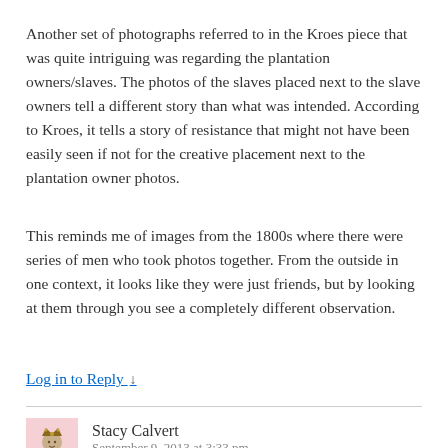Another set of photographs referred to in the Kroes piece that was quite intriguing was regarding the plantation owners/slaves. The photos of the slaves placed next to the slave owners tell a different story than what was intended. According to Kroes, it tells a story of resistance that might not have been easily seen if not for the creative placement next to the plantation owner photos.
This reminds me of images from the 1800s where there were series of men who took photos together. From the outside in one context, it looks like they were just friends, but by looking at them through you see a completely different observation.
Log in to Reply ↓
[Figure (illustration): Small avatar illustration of Stacy Calvert — a cartoon-style figure with a crown or decorative headpiece on a pink/light background]
Stacy Calvert
September 9, 2013 at 3:33 pm